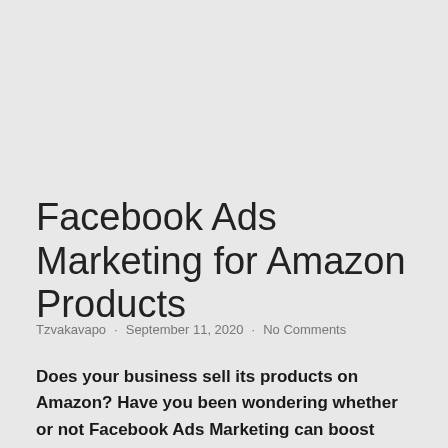Facebook Ads Marketing for Amazon Products
Tzvakavapo · September 11, 2020 · No Comments
Does your business sell its products on Amazon? Have you been wondering whether or not Facebook Ads Marketing can boost your business? If yes, then …